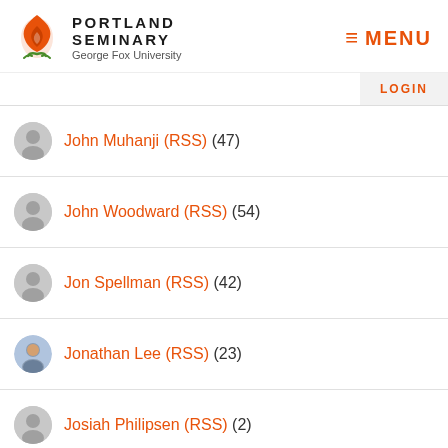[Figure (logo): Portland Seminary at George Fox University logo with orange flame and green plant icon]
≡ MENU
LOGIN
John Muhanji (RSS) (47)
John Woodward (RSS) (54)
Jon Spellman (RSS) (42)
Jonathan Lee (RSS) (23)
Josiah Philipsen (RSS) (2)
Joy Mindo (RSS) (25)